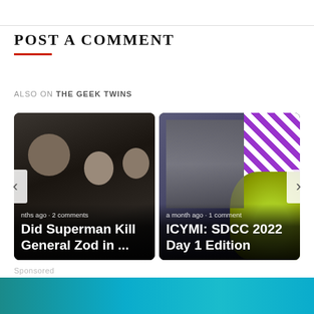POST A COMMENT
ALSO ON THE GEEK TWINS
[Figure (photo): Carousel with two article cards. Left card shows a dark film scene with text 'Did Superman Kill General Zod in ...' and '2 comments'. Right card shows colorful SDCC imagery with text 'ICYMI: SDCC 2022 Day 1 Edition' and '1 comment'. Navigation arrows on sides.]
Sponsored